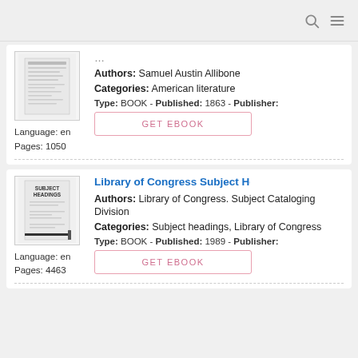Authors: Samuel Austin Allibone
Categories: American literature
Type: BOOK - Published: 1863 - Publisher:
Language: en
Pages: 1050
GET EBOOK
Library of Congress Subject Headi
Authors: Library of Congress. Subject Cataloging Division
Categories: Subject headings, Library of Congress
Type: BOOK - Published: 1989 - Publisher:
Language: en
Pages: 4463
GET EBOOK